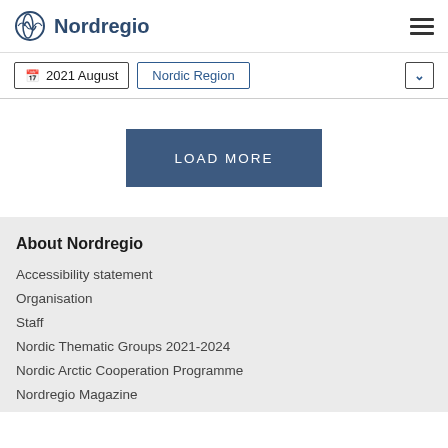Nordregio
2021 August | Nordic Region
[Figure (other): LOAD MORE button - blue rectangular button with white text]
About Nordregio
Accessibility statement
Organisation
Staff
Nordic Thematic Groups 2021-2024
Nordic Arctic Cooperation Programme
Nordregio Magazine